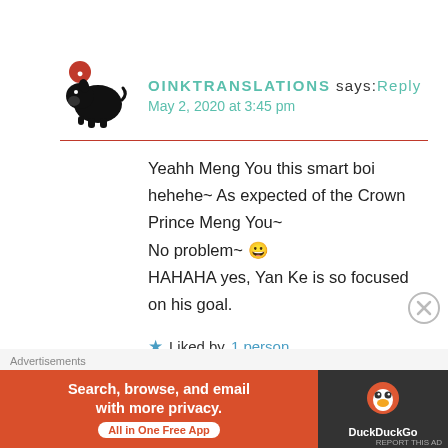[Figure (illustration): Black pig avatar icon with a red notification badge showing a person silhouette]
OINKTRANSLATIONS says: Reply
May 2, 2020 at 3:45 pm
Yeahh Meng You this smart boi hehehe~ As expected of the Crown Prince Meng You~
No problem~ 😀
HAHAHA yes, Yan Ke is so focused on his goal.
★ Liked by 1 person
Advertisements
[Figure (screenshot): DuckDuckGo advertisement banner: Search, browse, and email with more privacy. All in One Free App]
REPORT THIS AD